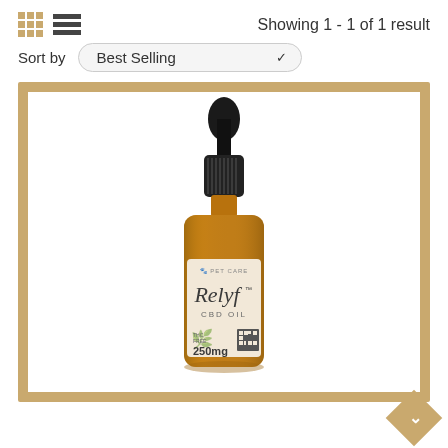Showing 1 - 1 of 1 result
Sort by  Best Selling
[Figure (photo): Relyf CBD Oil 250mg Pet Care amber dropper bottle with black dropper cap and cream label, shown on white background inside a tan/gold border frame]